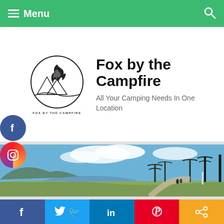Menu
[Figure (logo): Fox by the Campfire circular logo with campfire flame and mountain silhouette, text 'FOX BY THE CAMPFIRE' below]
Fox by the Campfire
All Your Camping Needs In One Location
[Figure (photo): Panoramic photo of a campground with a lake, green grass, bare trees, a mountain in the background, and a paved path with people walking, under a blue sky with clouds]
[Figure (infographic): Bottom social share bar with Facebook, Twitter, LinkedIn, Pinterest, and share buttons]